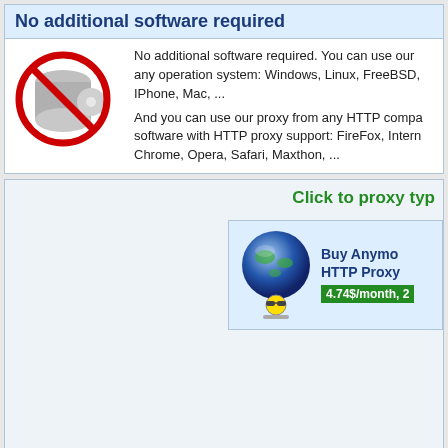No additional software required
No additional software required. You can use our any operation system: Windows, Linux, FreeBSD, IPhone, Mac, ... And you can use our proxy from any HTTP compatible software with HTTP proxy support: FireFox, Internet Chrome, Opera, Safari, Maxthon, ...
[Figure (illustration): No software icon: server/disc with a red X circle over it]
Click to proxy typ
[Figure (illustration): Buy Anonymous HTTP Proxy globe icon with anonymous agent below. Price 4.74$/month]
[Figure (infographic): Social share buttons: share, Facebook, Google+, Twitter, Blogger, Google, LinkedIn, other]
Co Cheap Elite Pro All rights reserved. Usage of